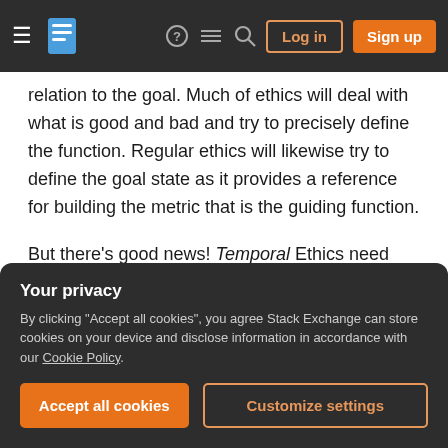Stack Exchange navigation bar with hamburger menu, logo, help, chat, search icons, Log in and Sign up buttons
relation to the goal. Much of ethics will deal with what is good and bad and try to precisely define the function. Regular ethics will likewise try to define the goal state as it provides a reference for building the metric that is the guiding function.
But there's good news! Temporal Ethics need only concern itself with the temporal aspects. That is, we don't need to define what is good, that's for regular ethics, we just need to define how our temporal aspects relate to the classical problem. The entirety of Temporal Ethics in actuality would be concerned
the matter as we can bypass the quibbling part of Temporal Ethics and just change the "Ti...
Your privacy
By clicking "Accept all cookies", you agree Stack Exchange can store cookies on your device and disclose information in accordance with our Cookie Policy.
Accept all cookies
Customize settings